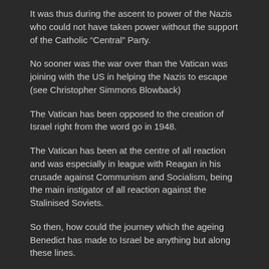It was thus during the ascent to power of the Nazis who could not have taken power without the support of the Catholic “Central” Party.
No sooner was the war over than the Vatican was joining with the US in helping the Nazis to escape (see Christopher Simmons Blowback)
The Vatican has been opposed to the creation of Israel right from the word go in 1948.
The Vatican has been at the centre of all reaction and was especially in league with Reagan in his crusade against Communism and Socialism, being the main instigator of all reaction against the Stalinised Soviets.
So then, how could the journey which the ageing Benedict has made to Israel be anything but along these lines.
So what lines precisely?